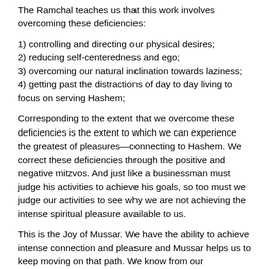The Ramchal teaches us that this work involves overcoming these deficiencies:
1) controlling and directing our physical desires;
2) reducing self-centeredness and ego;
3) overcoming our natural inclination towards laziness;
4) getting past the distractions of day to day living to focus on serving Hashem;
Corresponding to the extent that we overcome these deficiencies is the extent to which we can experience the greatest of pleasures—connecting to Hashem. We correct these deficiencies through the positive and negative mitzvos. And just like a businessman must judge his activities to achieve his goals, so too must we judge our activities to see why we are not achieving the intense spiritual pleasure available to us.
This is the Joy of Mussar. We have the ability to achieve intense connection and pleasure and Mussar helps us to keep moving on that path. We know from our professional, friendship-building, parental, and spousal experiences that achieving success in the most important things in life takes work. How fortunate are we to have an avenue like Mussar.